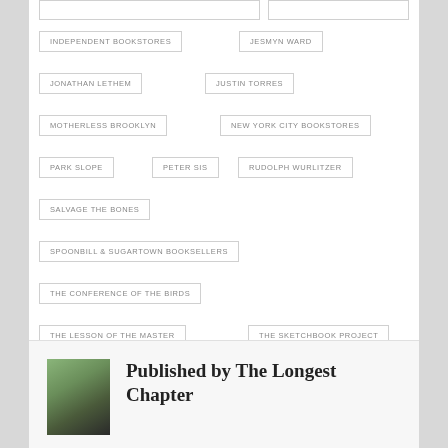INDEPENDENT BOOKSTORES
JESMYN WARD
JONATHAN LETHEM
JUSTIN TORRES
MOTHERLESS BROOKLYN
NEW YORK CITY BOOKSTORES
PARK SLOPE
PETER SIS
RUDOLPH WURLITZER
SALVAGE THE BONES
SPOONBILL & SUGARTOWN BOOKSELLERS
THE CONFERENCE OF THE BIRDS
THE LESSON OF THE MASTER
THE SKETCHBOOK PROJECT
WE THE ANIMALS
Published by The Longest Chapter